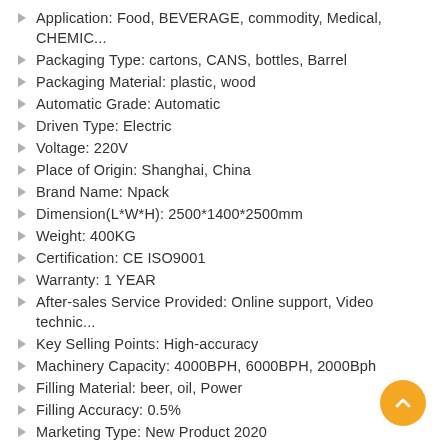Application: Food, BEVERAGE, commodity, Medical, CHEMIC…
Packaging Type: cartons, CANS, bottles, Barrel
Packaging Material: plastic, wood
Automatic Grade: Automatic
Driven Type: Electric
Voltage: 220V
Place of Origin: Shanghai, China
Brand Name: Npack
Dimension(L*W*H): 2500*1400*2500mm
Weight: 400KG
Certification: CE ISO9001
Warranty: 1 YEAR
After-sales Service Provided: Online support, Video technic…
Key Selling Points: High-accuracy
Machinery Capacity: 4000BPH, 6000BPH, 2000Bph
Filling Material: beer, oil, Power
Filling Accuracy: 0.5%
Marketing Type: New Product 2020
Machinery Test Report: Provided
Video outgoing-inspection: Provided